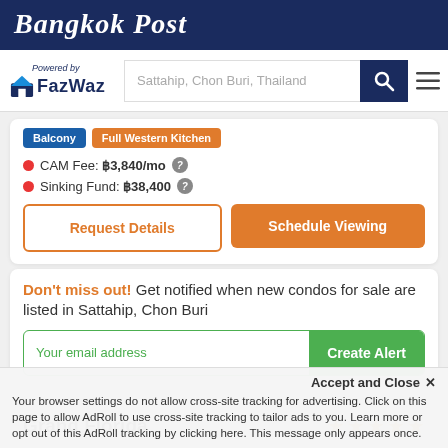Bangkok Post
[Figure (logo): FazWaz logo with house icon and 'Powered by' text, with search bar showing 'Sattahip, Chon Buri, Thailand']
Balcony
Full Western Kitchen
CAM Fee: ฿3,840/mo
Sinking Fund: ฿38,400
Request Details
Schedule Viewing
Don't miss out! Get notified when new condos for sale are listed in Sattahip, Chon Buri
Your email address
Create Alert
Grand Florida
Accept and Close ✕
Your browser settings do not allow cross-site tracking for advertising. Click on this page to allow AdRoll to use cross-site tracking to tailor ads to you. Learn more or opt out of this AdRoll tracking by clicking here. This message only appears once.